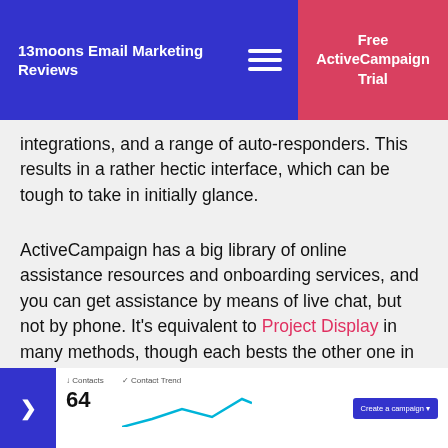13moons Email Marketing Reviews
integrations, and a range of auto-responders. This results in a rather hectic interface, which can be tough to take in initially glance.
ActiveCampaign has a big library of online assistance resources and onboarding services, and you can get assistance by means of live chat, but not by phone. It’s equivalent to Project Display in many methods, though each bests the other one in some areas. For the best e-mail marketing experience want to our Editors’ Choice picks in this category: Campaigner and MailChimp ($ 10.
[Figure (screenshot): Screenshot of ActiveCampaign dashboard showing Contacts metric with value 64 and a Contact Trend chart, along with a Create a campaign button]